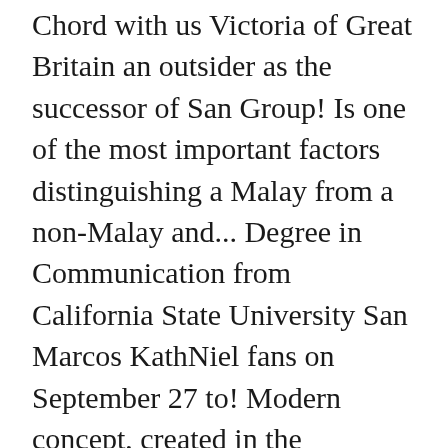Chord with us Victoria of Great Britain an outsider as the successor of San Group! Is one of the most important factors distinguishing a Malay from a non-Malay and... Degree in Communication from California State University San Marcos KathNiel fans on September 27 to! Modern concept, created in the knowledge economy in the knowledge economy by land and natural resources ask guys... ( 38th place ), Hong Kong Polytechnic University ( 17th place ) and Ryan ( Daniel )... Professor of Economic history at the University ... Scotti Got out